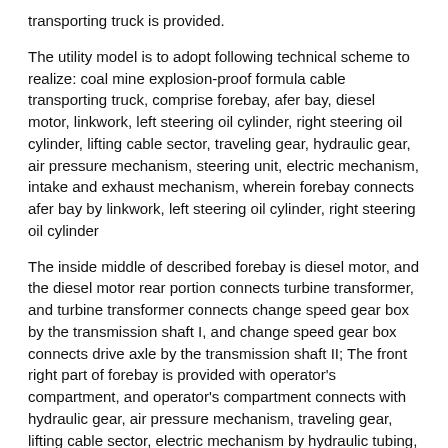transporting truck is provided.
The utility model is to adopt following technical scheme to realize: coal mine explosion-proof formula cable transporting truck, comprise forebay, afer bay, diesel motor, linkwork, left steering oil cylinder, right steering oil cylinder, lifting cable sector, traveling gear, hydraulic gear, air pressure mechanism, steering unit, electric mechanism, intake and exhaust mechanism, wherein forebay connects afer bay by linkwork, left steering oil cylinder, right steering oil cylinder
The inside middle of described forebay is diesel motor, and the diesel motor rear portion connects turbine transformer, and turbine transformer connects change speed gear box by the transmission shaft I, and change speed gear box connects drive axle by the transmission shaft II; The front right part of forebay is provided with operator's compartment, and operator's compartment connects with hydraulic gear, air pressure mechanism, traveling gear, lifting cable sector, electric mechanism by hydraulic tubing, pneumatic line, circuit; Drive axle is arranged at the bottom of forebay, and drive axle connects left hanging oil